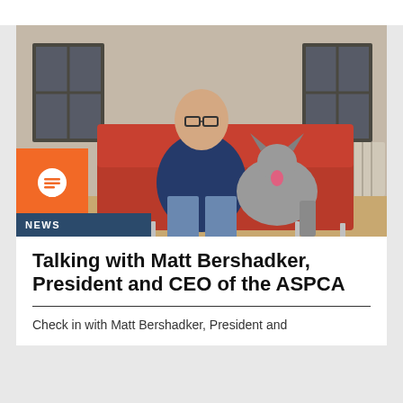[Figure (photo): Man with glasses wearing a navy sweater sits on a red couch with a grey dog, in an open office/loft space with large windows and radiators in the background. An orange badge with a chat/message icon overlays the lower-left corner of the photo.]
NEWS
Talking with Matt Bershadker, President and CEO of the ASPCA
Check in with Matt Bershadker, President and